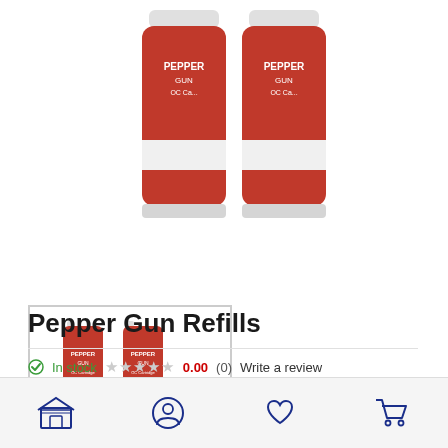[Figure (photo): Two red pepper gun OC cartridge refill canisters shown from top/front view on white background]
[Figure (photo): Thumbnail image of two red pepper gun OC cartridge refill canisters]
Pepper Gun Refills
In stock  0.00 (0) Write a review
CODE: 80421